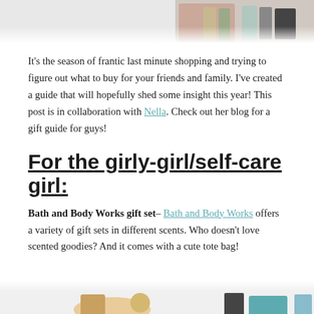[Figure (photo): Top portion of a product photo showing beauty/toiletry items including a pink/rose gold pouch and several bottles]
It's the season of frantic last minute shopping and trying to figure out what to buy for your friends and family. I've created a guide that will hopefully shed some insight this year! This post is in collaboration with Nella. Check out her blog for a gift guide for guys!
For the girly-girl/self-care girl:
Bath and Body Works gift set– Bath and Body Works offers a variety of gift sets in different scents. Who doesn't love scented goodies? And it comes with a cute tote bag!
[Figure (photo): Bottom portion showing product images of Bath and Body Works gift items]